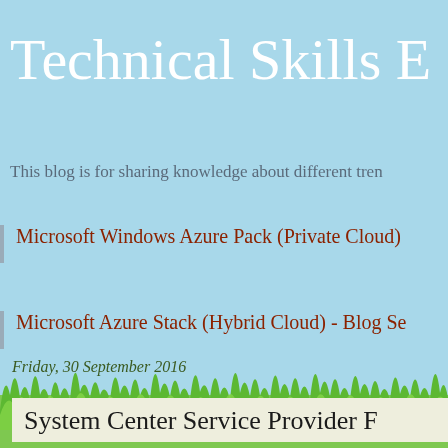Technical Skills E
This blog is for sharing knowledge about different tren
Microsoft Windows Azure Pack (Private Cloud)
Microsoft Azure Stack (Hybrid Cloud) - Blog Se
Friday, 30 September 2016
System Center Service Provider F